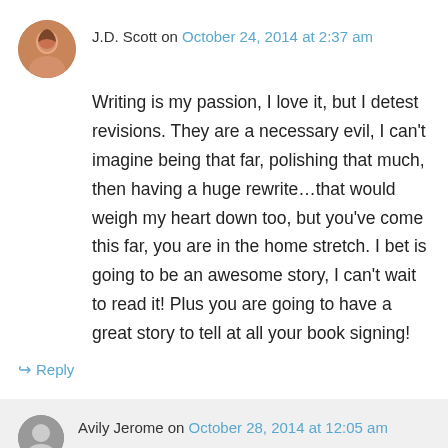J.D. Scott on October 24, 2014 at 2:37 am
Writing is my passion, I love it, but I detest revisions. They are a necessary evil, I can’t imagine being that far, polishing that much, then having a huge rewrite…that would weigh my heart down too, but you’ve come this far, you are in the home stretch. I bet is going to be an awesome story, I can’t wait to read it! Plus you are going to have a great story to tell at all your book signing!
↪ Reply
Avily Jerome on October 28, 2014 at 12:05 am
Me, too 🙂